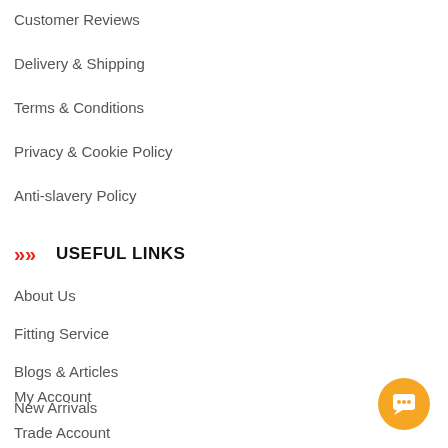Customer Reviews
Delivery & Shipping
Terms & Conditions
Privacy & Cookie Policy
Anti-slavery Policy
USEFUL LINKS
About Us
Fitting Service
Blogs & Articles
New Arrivals
My Account
Trade Account